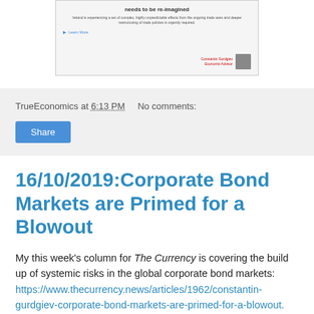[Figure (screenshot): Screenshot of a webpage article with heading 'needs to be re-imagined', body text about complex policy efforts, a Learn More link, and an author photo with red name text at bottom right]
TrueEconomics at 6:13 PM   No comments:
Share
16/10/2019:Corporate Bond Markets are Primed for a Blowout
My this week's column for The Currency is covering the build up of systemic risks in the global corporate bond markets: https://www.thecurrency.news/articles/1962/constantin-gurdgiev-corporate-bond-markets-are-primed-for-a-blowout.